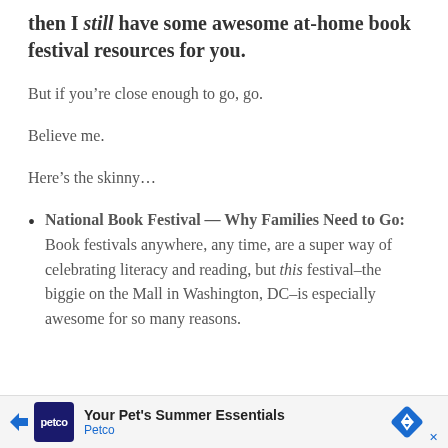then I still have some awesome at-home book festival resources for you.
But if you’re close enough to go, go.
Believe me.
Here’s the skinny…
National Book Festival — Why Families Need to Go: Book festivals anywhere, any time, are a super way of celebrating literacy and reading, but this festival–the biggie on the Mall in Washington, DC–is especially awesome for so many reasons.
[Figure (other): Advertisement banner for Petco: Your Pet’s Summer Essentials]